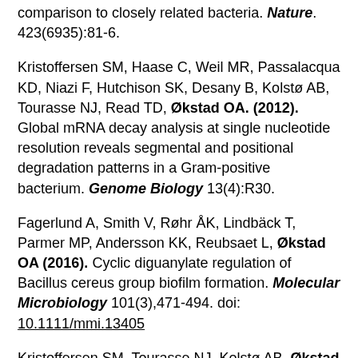comparison to closely related bacteria. Nature. 423(6935):81-6.
Kristoffersen SM, Haase C, Weil MR, Passalacqua KD, Niazi F, Hutchison SK, Desany B, Kolstø AB, Tourasse NJ, Read TD, Økstad OA. (2012). Global mRNA decay analysis at single nucleotide resolution reveals segmental and positional degradation patterns in a Gram-positive bacterium. Genome Biology 13(4):R30.
Fagerlund A, Smith V, Røhr ÅK, Lindbäck T, Parmer MP, Andersson KK, Reubsaet L, Økstad OA (2016). Cyclic diguanylate regulation of Bacillus cereus group biofilm formation. Molecular Microbiology 101(3),471-494. doi: 10.1111/mmi.13405
Kristoffersen SM, Tourasse NJ, Kolstø AB, Økstad OA (2010). Interspersed DNA repeats bcr1-